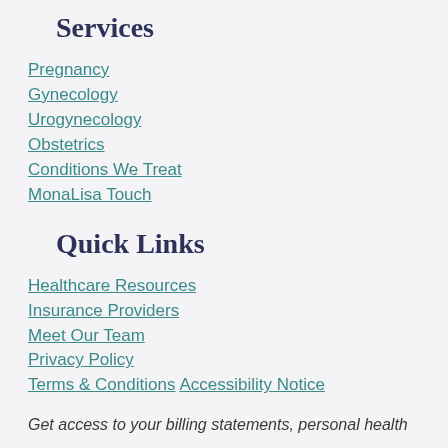Services
Pregnancy
Gynecology
Urogynecology
Obstetrics
Conditions We Treat
MonaLisa Touch
Quick Links
Healthcare Resources
Insurance Providers
Meet Our Team
Privacy Policy
Terms & Conditions  Accessibility Notice
Get access to your billing statements, personal health